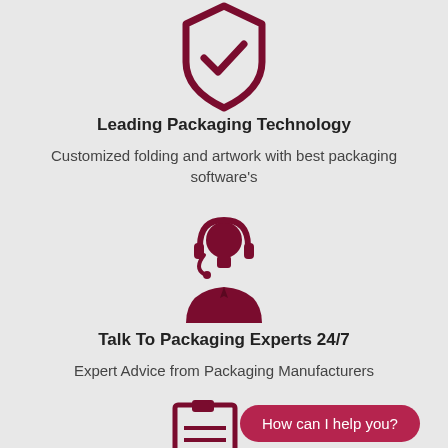[Figure (illustration): Dark red shield with checkmark icon at the top of the page]
Leading Packaging Technology
Customized folding and artwork with best packaging software's
[Figure (illustration): Dark red customer support agent with headset icon]
Talk To Packaging Experts 24/7
Expert Advice from Packaging Manufacturers
[Figure (illustration): Dark red clipboard/checklist icon partially visible at bottom]
How can I help you?